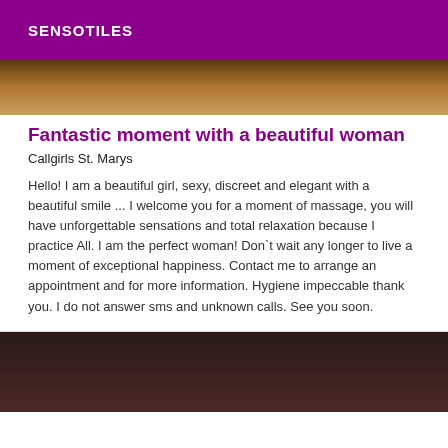SENSOTILES
[Figure (photo): Top portion of a photo showing a woman, cropped, warm brown tones]
Fantastic moment with a beautiful woman
Callgirls St. Marys
Hello! I am a beautiful girl, sexy, discreet and elegant with a beautiful smile ... I welcome you for a moment of massage, you will have unforgettable sensations and total relaxation because I practice All. I am the perfect woman! Don`t wait any longer to live a moment of exceptional happiness. Contact me to arrange an appointment and for more information. Hygiene impeccable thank you. I do not answer sms and unknown calls. See you soon.
[Figure (photo): Bottom portion of a photo, dark brown/maroon tones, partially visible]